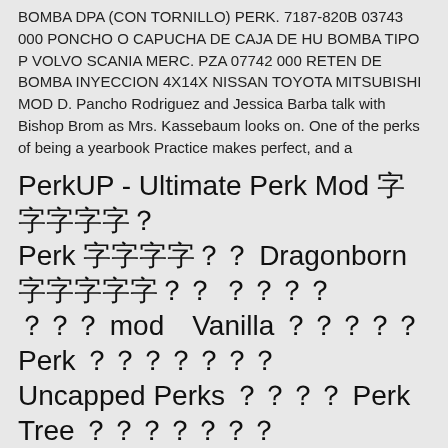BOMBA DPA (CON TORNILLO) PERK. 7187-820B 03743 000 PONCHO O CAPUCHA DE CAJA DE HU BOMBA TIPO P VOLVO SCANIA MERC. PZA 07742 000 RETEN DE BOMBA INYECCION 4X14X NISSAN TOYOTA MITSUBISHI MOD D. Pancho Rodriguez and Jessica Barba talk with Bishop Brom as Mrs. Kassebaum looks on. One of the perks of being a yearbook Practice makes perfect, and a
PerkUP - Ultimate Perk Mod 󿿿󿿿󿿿󿿿󿿿 Perk 󿿿󿿿󿿿󿿿󿿿 Dragonborn 󿿿󿿿󿿿󿿿󿿿󿿿 󿿿󿿿󿿿 󿿿󿿿󿿿 mod　Vanilla 󿿿󿿿󿿿󿿿 Perk 󿿿󿿿󿿿󿿿󿿿󿿿 Uncapped Perks 󿿿󿿿󿿿 Perk Tree 󿿿󿿿󿿿󿿿󿿿 󿿿󿿿󿿿󿿿󿿿󿿿󿿿󿿿󿿿
2017/01/24 Windows + Apache + mod_perl 󿿿󿿿󿿿 2003/04/08